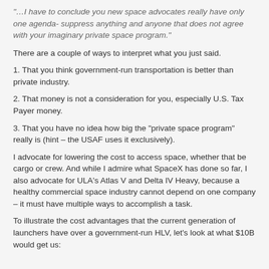"…I have to conclude you new space advocates really have only one agenda- suppress anything and anyone that does not agree with your imaginary private space program."
There are a couple of ways to interpret what you just said.
1. That you think government-run transportation is better than private industry.
2. That money is not a consideration for you, especially U.S. Tax Payer money.
3. That you have no idea how big the "private space program" really is (hint – the USAF uses it exclusively).
I advocate for lowering the cost to access space, whether that be cargo or crew. And while I admire what SpaceX has done so far, I also advocate for ULA's Atlas V and Delta IV Heavy, because a healthy commercial space industry cannot depend on one company – it must have multiple ways to accomplish a task.
To illustrate the cost advantages that the current generation of launchers have over a government-run HLV, let's look at what $10B would get us: